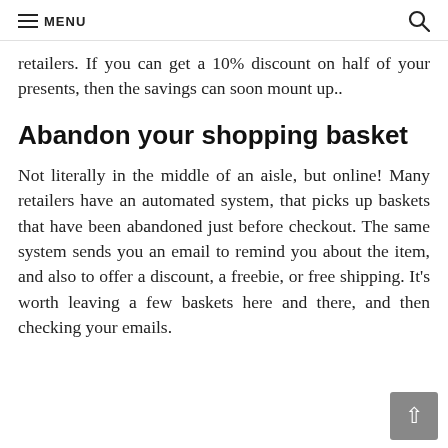≡ MENU
retailers. If you can get a 10% discount on half of your presents, then the savings can soon mount up..
Abandon your shopping basket
Not literally in the middle of an aisle, but online! Many retailers have an automated system, that picks up baskets that have been abandoned just before checkout. The same system sends you an email to remind you about the item, and also to offer a discount, a freebie, or free shipping. It's worth leaving a few baskets here and there, and then checking your emails.